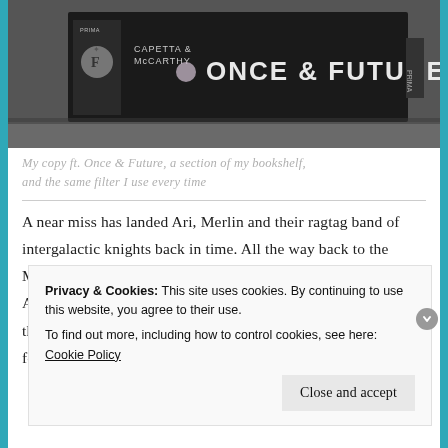[Figure (photo): Black and white photo of a book spine reading 'CAPETTA & McCARTHY — ONCE & FUTURE' on a bookshelf]
My copy ft. Once & Future, a section of my bookshelf, and the same filter I use every time
A near miss has landed Ari, Merlin and their ragtag band of intergalactic knights back in time. All the way back to the Middle Ages, to be exact, the time of the very first King Arthur. There, they are faced with an impossible task: to steal the grail of King Arthur and end the Arthurian cycle once and for all.
Privacy & Cookies: This site uses cookies. By continuing to use this website, you agree to their use.
To find out more, including how to control cookies, see here: Cookie Policy